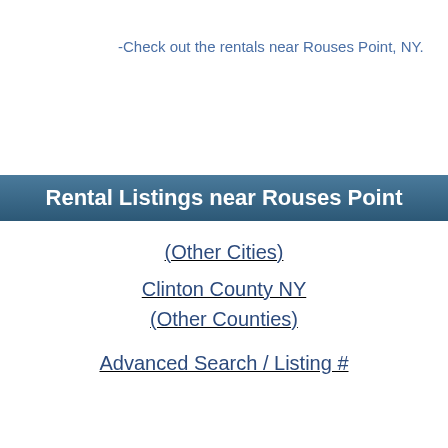-Check out the rentals near Rouses Point, NY.
Rental Listings near Rouses Point
(Other Cities)
Clinton County NY
(Other Counties)
Advanced Search / Listing #